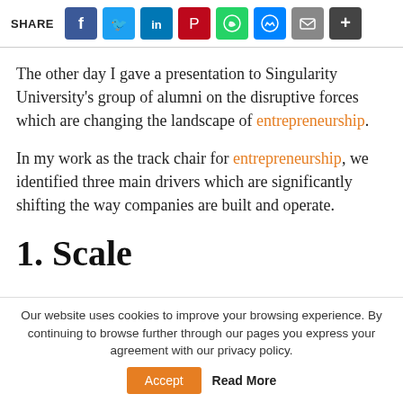[Figure (other): Share bar with social media icons: Facebook, Twitter, LinkedIn, Pinterest, WhatsApp, Messenger, Email, and a plus button]
The other day I gave a presentation to Singularity University's group of alumni on the disruptive forces which are changing the landscape of entrepreneurship.
In my work as the track chair for entrepreneurship, we identified three main drivers which are significantly shifting the way companies are built and operate.
1. Scale
Our website uses cookies to improve your browsing experience. By continuing to browse further through our pages you express your agreement with our privacy policy.